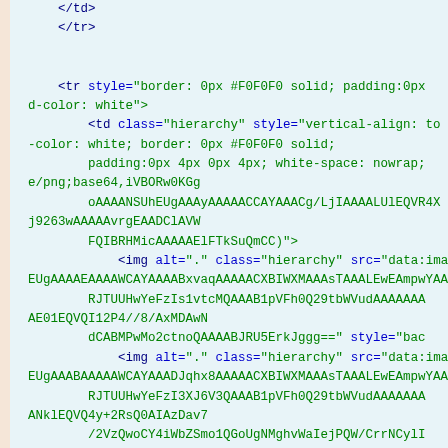Code snippet showing HTML with tr/td tags and base64 encoded image src attributes with style attributes for hierarchy display.